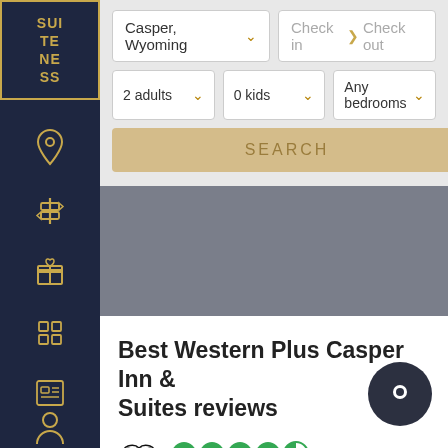[Figure (logo): Suiteness logo in gold on dark navy sidebar]
[Figure (screenshot): Hotel search interface with location Casper Wyoming, check in/out dates, 2 adults, 0 kids, any bedrooms, search button, map area, hotel name Best Western Plus Casper Inn & Suites reviews, TripAdvisor rating 4.5 stars 641 reviews]
Best Western Plus Casper Inn & Suites reviews
641 reviews